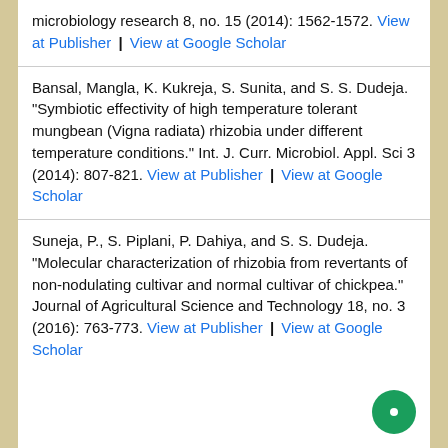microbiology research 8, no. 15 (2014): 1562-1572. View at Publisher | View at Google Scholar
Bansal, Mangla, K. Kukreja, S. Sunita, and S. S. Dudeja. "Symbiotic effectivity of high temperature tolerant mungbean (Vigna radiata) rhizobia under different temperature conditions." Int. J. Curr. Microbiol. Appl. Sci 3 (2014): 807-821. View at Publisher | View at Google Scholar
Suneja, P., S. Piplani, P. Dahiya, and S. S. Dudeja. "Molecular characterization of rhizobia from revertants of non-nodulating cultivar and normal cultivar of chickpea." Journal of Agricultural Science and Technology 18, no. 3 (2016): 763-773. View at Publisher | View at Google Scholar